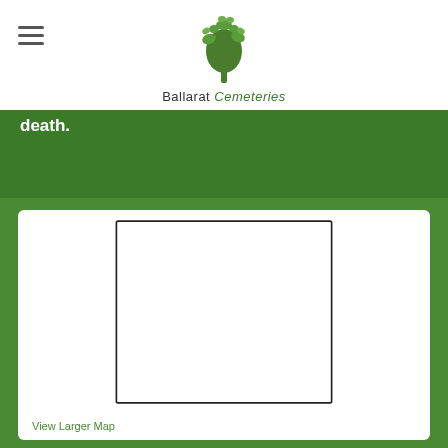Ballarat Cemeteries
death.
[Figure (map): Embedded map placeholder — white rectangle with black border representing a map area]
View Larger Map